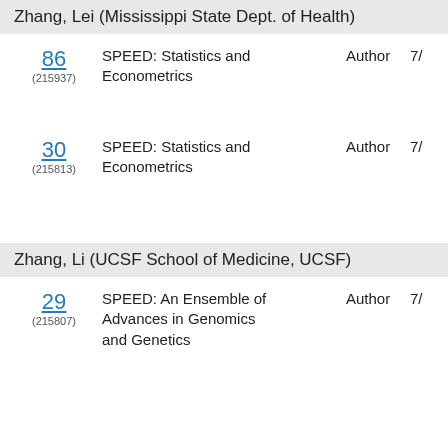Zhang, Lei (Mississippi State Dept. of Health)
86 (215937) SPEED: Statistics and Econometrics Author 7/
30 (215813) SPEED: Statistics and Econometrics Author 7/
Zhang, Li (UCSF School of Medicine, UCSF)
29 (215807) SPEED: An Ensemble of Advances in Genomics and Genetics Author 7/